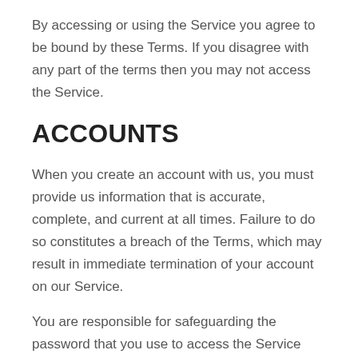By accessing or using the Service you agree to be bound by these Terms. If you disagree with any part of the terms then you may not access the Service.
ACCOUNTS
When you create an account with us, you must provide us information that is accurate, complete, and current at all times. Failure to do so constitutes a breach of the Terms, which may result in immediate termination of your account on our Service.
You are responsible for safeguarding the password that you use to access the Service and for any activities or actions under your password, whether your password is with our Service or a third-party service.